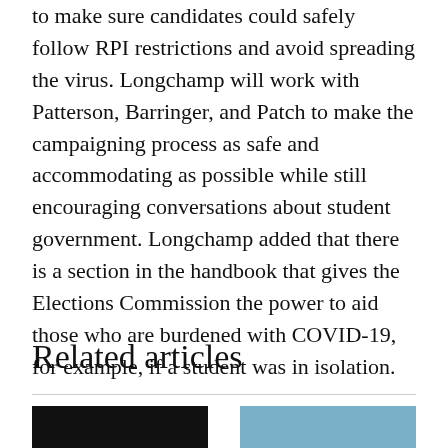safety discussions in the information sessions to make sure candidates could safely follow RPI restrictions and avoid spreading the virus. Longchamp will work with Patterson, Barringer, and Patch to make the campaigning process as safe and accommodating as possible while still encouraging conversations about student government. Longchamp added that there is a section in the handbook that gives the Elections Commission the power to aid those who are burdened with COVID-19, for example, if a student was in isolation.
Related articles
[Figure (photo): Thumbnail image on the left, dark/black photo]
[Figure (photo): Thumbnail image on the right, outdoor/sky photo]